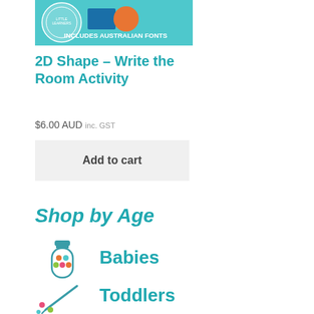[Figure (screenshot): Product thumbnail image with teal background and text 'INCLUDES AUSTRALIAN FONTS' with circular badge logo]
2D Shape – Write the Room Activity
$6.00 AUD inc. GST
Add to cart
Shop by Age
[Figure (illustration): Baby bottle icon with colorful dots]
Babies
[Figure (illustration): Toddler pencil/crayon icon]
Toddlers